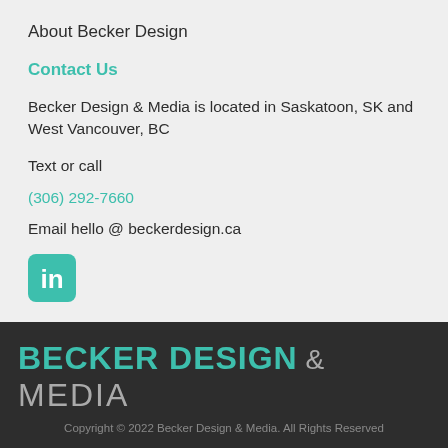About Becker Design
Contact Us
Becker Design & Media is located in Saskatoon, SK and West Vancouver, BC
Text or call
(306) 292-7660
Email hello @ beckerdesign.ca
[Figure (logo): LinkedIn icon - teal rounded square with 'in' text]
[Figure (logo): Becker Design & Media logo in large bold text, teal and grey on dark background]
Copyright © 2022 Becker Design & Media. All Rights Reserved